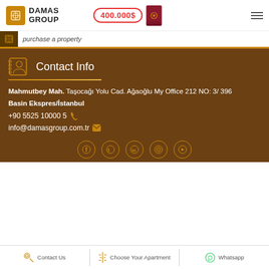DAMAS GROUP — 400.000$
purchase a property
Contact Info
Mahmutbey Mah. Taşocağı Yolu Cad. Ağaoğlu My Office 212 NO: 3/ 396
Basin Ekspres/İstanbul
+90 5525 10000 5
info@damasgroup.com.tr
[Figure (logo): Social media icons row: Facebook, Twitter, LinkedIn, Instagram, YouTube]
Contact Us | Choose Your Apartment | Whatsapp